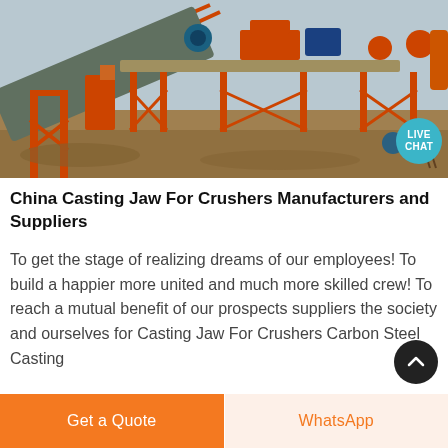[Figure (photo): Industrial crushing/mining machinery with orange metal frames, conveyor belts, and various mechanical equipment on a dirt construction site. A 'LIVE CHAT' bubble is overlaid in the top-right area of the photo.]
China Casting Jaw For Crushers Manufacturers and Suppliers
To get the stage of realizing dreams of our employees! To build a happier more united and much more skilled crew! To reach a mutual benefit of our prospects suppliers the society and ourselves for Casting Jaw For Crushers Carbon Steel Casting
Get a Quote
WhatsApp